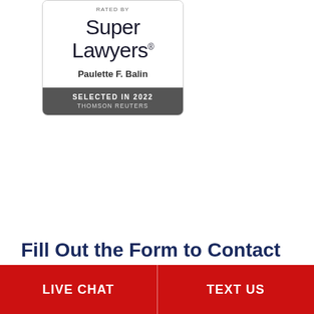[Figure (logo): Super Lawyers badge/seal showing 'RATED BY Super Lawyers Paulette F. Balin SELECTED IN 2022 THOMSON REUTERS' with a white top section and dark grey bottom section]
Fill Out the Form to Contact Paulette Balin
Name (required)
LIVE CHAT
TEXT US